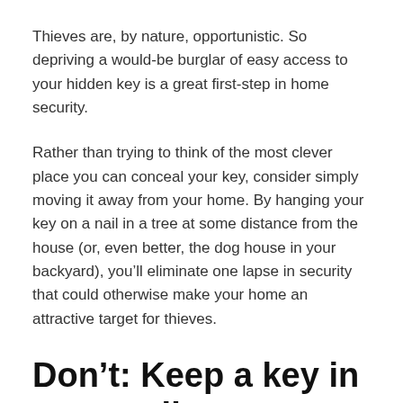Thieves are, by nature, opportunistic. So depriving a would-be burglar of easy access to your hidden key is a great first-step in home security.
Rather than trying to think of the most clever place you can conceal your key, consider simply moving it away from your home. By hanging your key on a nail in a tree at some distance from the house (or, even better, the dog house in your backyard), you’ll eliminate one lapse in security that could otherwise make your home an attractive target for thieves.
Don’t: Keep a key in your wallet